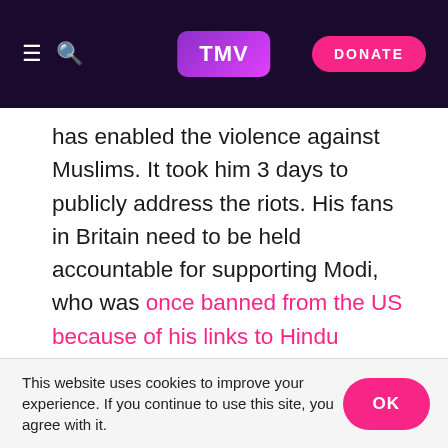TMV | DONATE
has enabled the violence against Muslims. It took him 3 days to publicly address the riots. His fans in Britain need to be held accountable for supporting Modi, who was once banned from the US because of his links to Hindu extremists.
Bob Blackman MP, and Chair of the APPG on British Hindus, strongly endorsed the revocation of Article 370. Mr Blackman's Twitter page features a picture of him with Modi, highlighting his support for the right-wing leader.
This website uses cookies to improve your experience. If you continue to use this site, you agree with it.